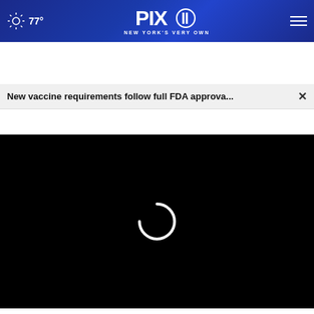77° | PIX11 NEW YORK'S VERY OWN
New vaccine requirements follow full FDA approva...
[Figure (screenshot): Black video player area with a loading spinner (white partial circle) in the center, indicating a video is buffering or loading.]
[Figure (screenshot): Advertisement banner showing 'DISCOVERtheFOREST.org' with ad council and USDA Forest Service logos, with a close button (X) above it over a blurred background with red and blue lights.]